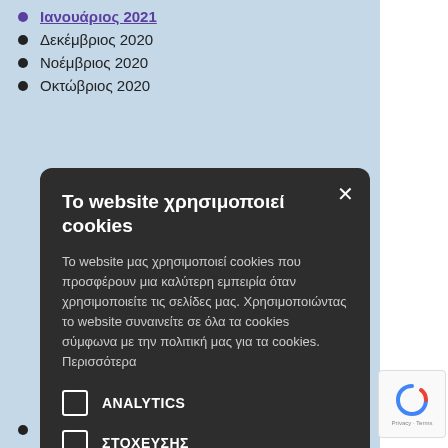Δεκέμβριος 2020
Νοέμβριος 2020
Οκτώβριος 2020
Το website χρησιμοποιεί cookies
Το website μας χρησιμοποιεί cookies που προσφέρουν μια καλύτερη εμπειρία όταν χρησιμοποιείτε τις σελίδες μας. Χρησιμοποιώντας το website συναινείτε σε όλα τα cookies σύμφωνα με την πολιτική μας για τα cookies. Περισσότερα
ANALYTICS
ΣΤΟΧΕΥΣΗΣ
ΑΤΑΞΙΝΟΜΗΤΑ
ΑΠΟΔΟΧΗ ΟΛΩΝ
ΑΠΟΡΡΙΨΗ ΟΛΩΝ
Ιούλιος 2019